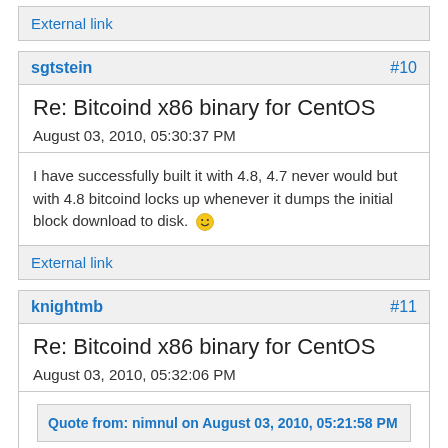External link
sgtstein #10
Re: Bitcoind x86 binary for CentOS
August 03, 2010, 05:30:37 PM
I have successfully built it with 4.8, 4.7 never would but with 4.8 bitcoind locks up whenever it dumps the initial block download to disk. 🙂
External link
knightmb #11
Re: Bitcoind x86 binary for CentOS
August 03, 2010, 05:32:06 PM
Quote from: nimnul on August 03, 2010, 05:21:58 PM